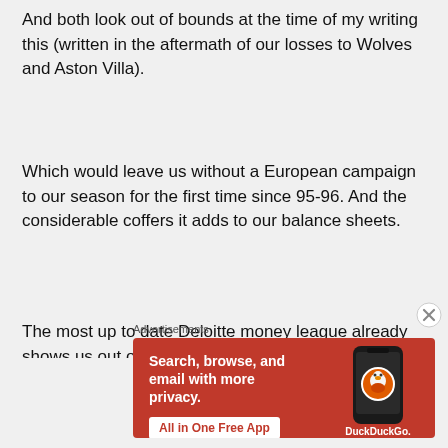And both look out of bounds at the time of my writing this (written in the aftermath of our losses to Wolves and Aston Villa).
Which would leave us without a European campaign to our season for the first time since 95-96. And the considerable coffers it adds to our balance sheets.
The most up to date Deloitte money league already shows us out of the top 10 clubs and below that lot
Advertisements
[Figure (other): DuckDuckGo advertisement banner on orange/red background. Text: 'Search, browse, and email with more privacy. All in One Free App' with DuckDuckGo logo and phone illustration.]